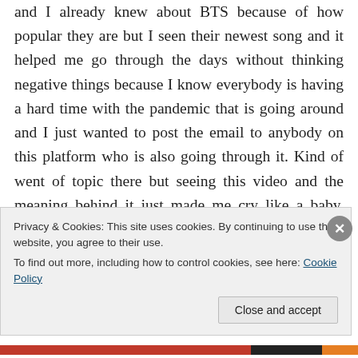and I already knew about BTS because of how popular they are but I seen their newest song and it helped me go through the days without thinking negative things because I know everybody is having a hard time with the pandemic that is going around and I just wanted to post the email to anybody on this platform who is also going through it. Kind of went of topic there but seeing this video and the meaning behind it just made me cry like a baby. Seeing how they interact with each other made me
Privacy & Cookies: This site uses cookies. By continuing to use this website, you agree to their use.
To find out more, including how to control cookies, see here: Cookie Policy